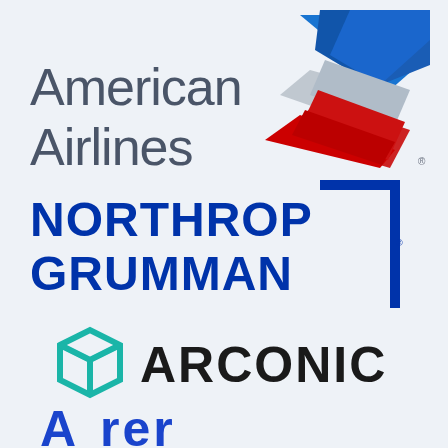[Figure (logo): American Airlines logo with stylized tail fin in blue, silver, and red, with text 'American Airlines' in dark slate blue]
[Figure (logo): Northrop Grumman logo with bold blue text 'NORTHROP GRUMMAN' and a blue right-angle bracket graphic element]
[Figure (logo): Arconic logo with a teal geometric hexagonal box icon and bold black text 'ARCONIC']
[Figure (logo): Partial logo visible at bottom of page, appears to be blue text/letters partially cut off]